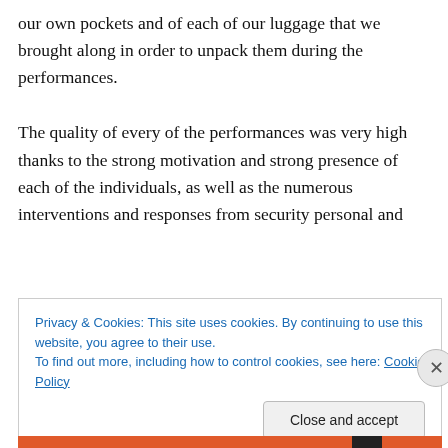our own pockets and of each of our luggage that we brought along in order to unpack them during the performances.
The quality of every of the performances was very high thanks to the strong motivation and strong presence of each of the individuals, as well as the numerous interventions and responses from security personal and
Privacy & Cookies: This site uses cookies. By continuing to use this website, you agree to their use.
To find out more, including how to control cookies, see here: Cookie Policy